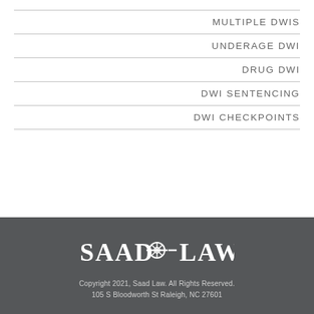MULTIPLE DWIS
UNDERAGE DWI
DRUG DWI
DWI SENTENCING
DWI CHECKPOINTS
[Figure (logo): Saad Law logo with cannon wheel emblem between SAAD and LAW text in white serif font on dark gray background]
Copyright 2021, Saad Law. All Rights Reserved.
105 S Bloodworth St Raleigh, NC 27601